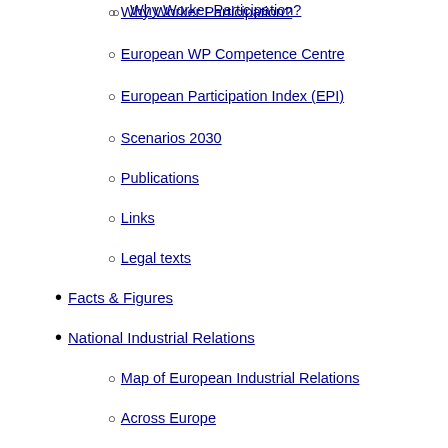Why Worker Participation?
European WP Competence Centre
European Participation Index (EPI)
Scenarios 2030
Publications
Links
Legal texts
Facts & Figures
National Industrial Relations
Map of European Industrial Relations
Across Europe
Compare Countries
Countries
European Works Councils
EWC court cases (jurisprudence)
Latest developments
Frequent Questions
Facts & Figures
EWC Database
Legal Matters
Recast Directive
EWC / SE-WC / SNB Training
Resources
European Company (SE)
Latest developments